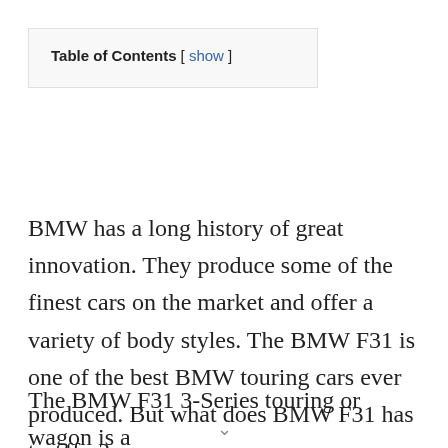BMW has a long history of great innovation. They produce some of the finest cars on the market and offer a variety of body styles. The BMW F31 is one of the best BMW touring cars ever produced. But what does BMW F31 has to offer?
The BMW F31 3-Series touring or wagon is a